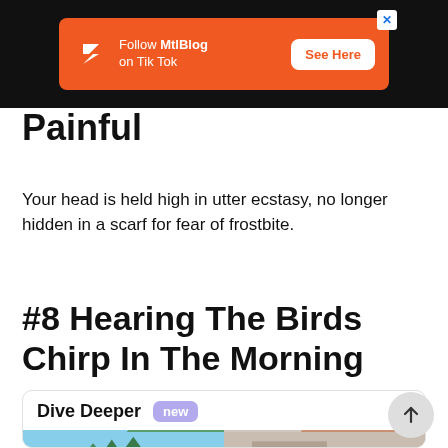[Figure (screenshot): Orange advertisement banner for MtlBlog TikTok on a black background, with white logo, text 'Follow MtlBlog on Tik Tok', and a 'See Here' button]
Painful
Your head is held high in utter ecstasy, no longer hidden in a scarf for fear of frostbite.
#8 Hearing The Birds Chirp In The Morning
Dive Deeper new
[Figure (photo): Two partial thumbnail images at the bottom of a 'Dive Deeper' card section]